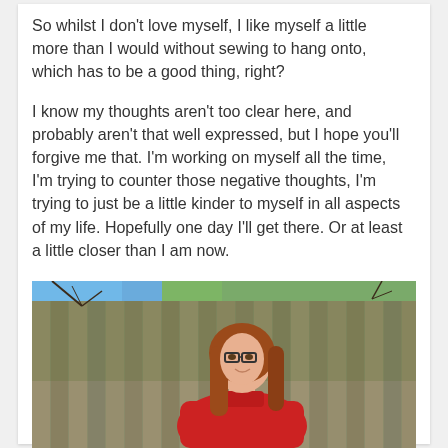So whilst I don't love myself, I like myself a little more than I would without sewing to hang onto, which has to be a good thing, right?
I know my thoughts aren't too clear here, and probably aren't that well expressed, but I hope you'll forgive me that.  I'm working on myself all the time, I'm trying to counter those negative thoughts, I'm trying to just be a little kinder to myself in all aspects of my life.  Hopefully one day I'll get there.  Or at least a little closer than I am now.
[Figure (photo): A woman with long red/auburn hair and glasses wearing a red turtleneck sweater, standing in front of a wooden fence with blue sky and bare tree branches visible above.]